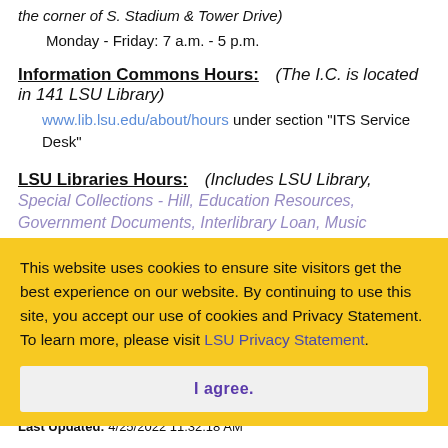the corner of S. Stadium & Tower Drive)
Monday - Friday: 7 a.m. - 5 p.m.
Information Commons Hours:
(The I.C. is located in 141 LSU Library)
www.lib.lsu.edu/about/hours under section "ITS Service Desk"
LSU Libraries Hours:
(Includes LSU Library, Special Collections - Hill, Education Resources, Government Documents, Interlibrary Loan, Music Resources, & Research Service Desk)
This website uses cookies to ensure site visitors get the best experience on our website. By continuing to use this site, you accept our use of cookies and Privacy Statement. To learn more, please visit LSU Privacy Statement.
I agree.
Article ID: 13007
Last Updated: 4/25/2022 11:32:18 AM